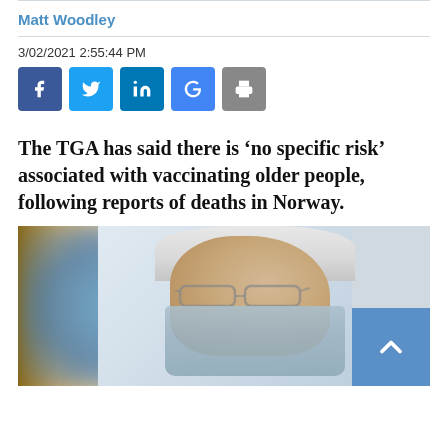Matt Woodley
3/02/2021 2:55:44 PM
[Figure (other): Social media sharing buttons: Facebook (f), Twitter (bird), LinkedIn (in), Google (G), Print (printer icon)]
The TGA has said there is ‘no specific risk’ associated with vaccinating older people, following reports of deaths in Norway.
[Figure (photo): Close-up photo of an elderly man wearing glasses and a blue face mask, with a blurred blue/teal element in the foreground left. A scroll-to-top button (chevron up) is overlaid in the bottom right corner.]